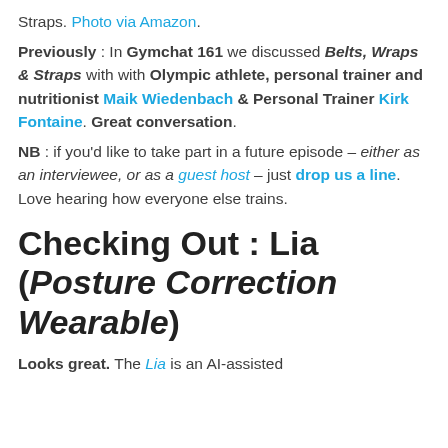Straps. Photo via Amazon.
Previously : In Gymchat 161 we discussed Belts, Wraps & Straps with with Olympic athlete, personal trainer and nutritionist Maik Wiedenbach & Personal Trainer Kirk Fontaine. Great conversation.
NB : if you'd like to take part in a future episode – either as an interviewee, or as a guest host – just drop us a line. Love hearing how everyone else trains.
Checking Out : Lia (Posture Correction Wearable)
Looks great. The Lia is an AI-assisted